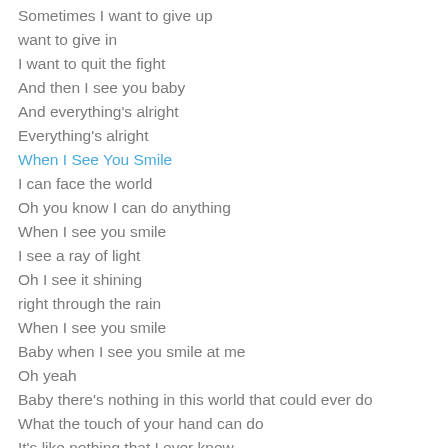Sometimes I want to give up
want to give in
I want to quit the fight
And then I see you baby
And everything's alright
Everything's alright
When I See You Smile
I can face the world
Oh you know I can do anything
When I see you smile
I see a ray of light
Oh I see it shining
right through the rain
When I see you smile
Baby when I see you smile at me
Oh yeah
Baby there's nothing in this world that could ever do
What the touch of your hand can do
It's like nothing that I ever knew
Hey
And when the rain is falling